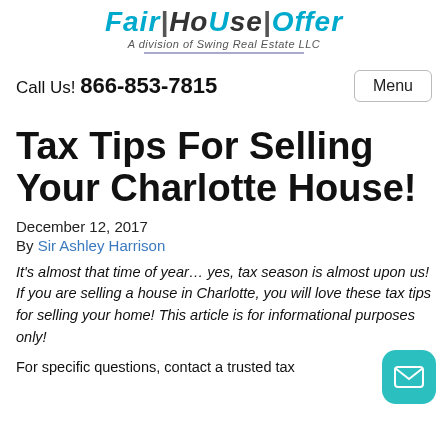[Figure (logo): FairHouseOffer logo with tagline 'A division of Swing Real Estate LLC']
Call Us! 866-853-7815
Tax Tips For Selling Your Charlotte House!
December 12, 2017
By Sir Ashley Harrison
It's almost that time of year… yes, tax season is almost upon us! If you are selling a house in Charlotte, you will love these tax tips for selling your home! This article is for informational purposes only!
For specific questions, contact a trusted tax